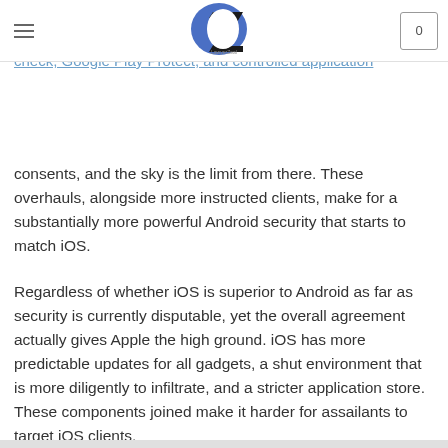[hamburger menu] [logo: CZ/LawyerZeal] [cart: 0]
adding measures to ensure your telephones and data remains adding measures to ensure your telephones and data remains
These incorporate the sand-boxing, two-verification check, Google Play Protect, and controlled application consents, and the sky is the limit from there. These overhauls, alongside more instructed clients, make for a substantially more powerful Android security that starts to match iOS.
Regardless of whether iOS is superior to Android as far as security is currently disputable, yet the overall agreement actually gives Apple the high ground. iOS has more predictable updates for all gadgets, a shut environment that is more diligently to infiltrate, and a stricter application store. These components joined make it harder for assailants to target iOS clients.